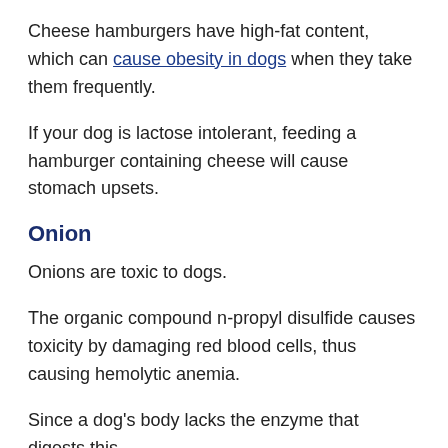Cheese hamburgers have high-fat content, which can cause obesity in dogs when they take them frequently.
If your dog is lactose intolerant, feeding a hamburger containing cheese will cause stomach upsets.
Onion
Onions are toxic to dogs.
The organic compound n-propyl disulfide causes toxicity by damaging red blood cells, thus causing hemolytic anemia.
Since a dog's body lacks the enzyme that digests this